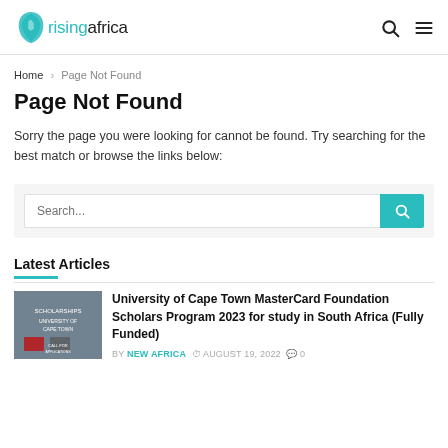risingafrica
Home > Page Not Found
Page Not Found
Sorry the page you were looking for cannot be found. Try searching for the best match or browse the links below:
Search...
Latest Articles
University of Cape Town MasterCard Foundation Scholars Program 2023 for study in South Africa (Fully Funded)
BY NEW AFRICA  AUGUST 19, 2022  0